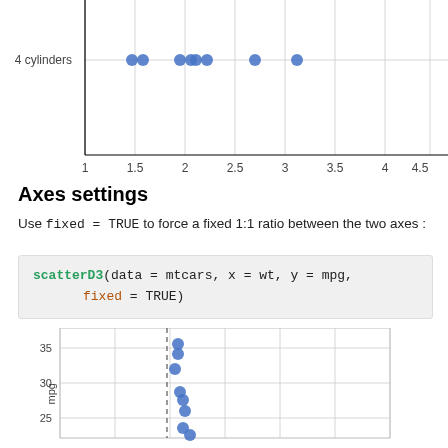[Figure (continuous-plot): Top portion of a scatter plot showing '4 cylinders' on the y-axis with several blue dots clustered between x=1.5 and x=3.2. X-axis shows values from 1 to 5+. This is a partial view cut off at top.]
Axes settings
Use fixed = TRUE to force a fixed 1:1 ratio between the two axes :
[Figure (screenshot): Code block showing: scatterD3(data = mtcars, x = wt, y = mpg, fixed = TRUE)]
[Figure (continuous-plot): Bottom portion of a scatter plot with mpg on y-axis (showing values 25, 30, 35) and blue dots. A vertical dashed line divides the plot. Points are clustered near the dashed line.]